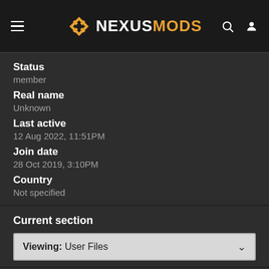NEXUSMODS
Status
member
Real name
Unknown
Last active
12 Aug 2022,  11:51PM
Join date
28 Oct 2019,  3:10PM
Country
Not specified
Current section
Viewing: User Files
Pages
1